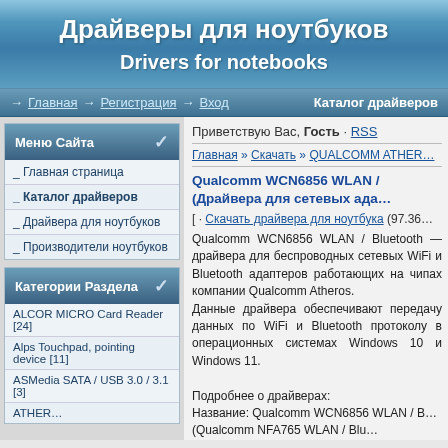Драйверы для ноутбуков
Drivers for notebooks
→ Главная → Регистрация → Вход   Каталог драйверов
Меню Сайта
Главная страница
Каталог драйверов
Драйвера для ноутбуков
Производители ноутбуков
Категории Раздела
ALCOR MICRO Card Reader [24]
Alps Touchpad, pointing device [11]
ASMedia SATA / USB 3.0 / 3.1 [3]
Приветствую Вас, Гость · RSS
Главная » Скачать » QUALCOMM ATHER…
Qualcomm WCN6856 WLAN / Bluetooth (Драйвера для сетевых адап…
[ · Скачать драйвера для ноутбука (97.36…
Qualcomm WCN6856 WLAN / Bluetooth — драйвера для беспроводных сетевых WiFi и Bluetooth адаптеров работающих на чипах компании Qualcomm Atheros.
Данные драйвера обеспечивают передачу данных по WiFi и Bluetooth протоколу в операционных системах Windows 10 и Windows 11.

Подробнее о драйверах:
Название: Qualcomm WCN6856 WLAN / B… (Qualcomm NFA765 WLAN / Blu…